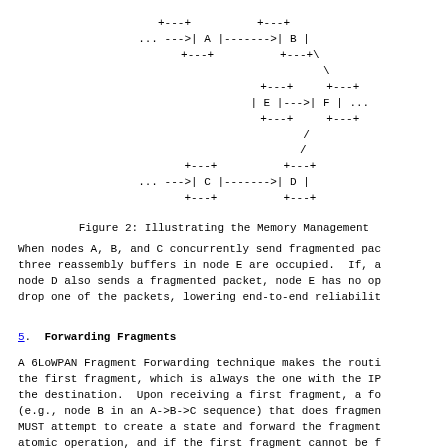[Figure (network-graph): ASCII art diagram showing nodes A, B, C, D, E, F connected with arrows. A->B, B diagonally to E, E->F, C->D, D diagonally to E. Lines shown with +---+ boxes and --> arrows.]
Figure 2: Illustrating the Memory Management
When nodes A, B, and C concurrently send fragmented pac three reassembly buffers in node E are occupied.  If, a node D also sends a fragmented packet, node E has no op drop one of the packets, lowering end-to-end reliabilit
5.  Forwarding Fragments
A 6LoWPAN Fragment Forwarding technique makes the routi the first fragment, which is always the one with the IP the destination.  Upon receiving a first fragment, a fo (e.g., node B in an A->B->C sequence) that does fragmen MUST attempt to create a state and forward the fragment atomic operation, and if the first fragment cannot be f the state MUST be removed.